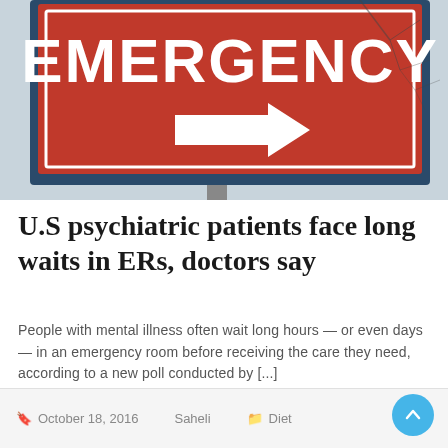[Figure (photo): Red emergency sign with white bold text reading 'EMERGENCY' and a right-pointing arrow, mounted on a post against a winter sky with bare tree branches visible.]
U.S psychiatric patients face long waits in ERs, doctors say
People with mental illness often wait long hours — or even days — in an emergency room before receiving the care they need, according to a new poll conducted by [...]
October 18, 2016   Saheli   Diet